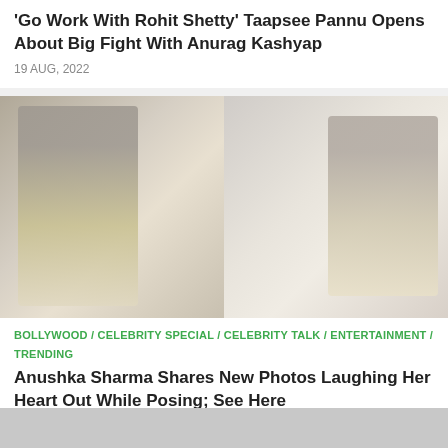'Go Work With Rohit Shetty' Taapsee Pannu Opens About Big Fight With Anurag Kashyap
19 AUG, 2022
[Figure (photo): Two side-by-side photos of Anushka Sharma in white outfit, laughing and posing]
BOLLYWOOD / CELEBRITY SPECIAL / CELEBRITY TALK / ENTERTAINMENT / TRENDING
Anushka Sharma Shares New Photos Laughing Her Heart Out While Posing; See Here
19 AUG, 2022